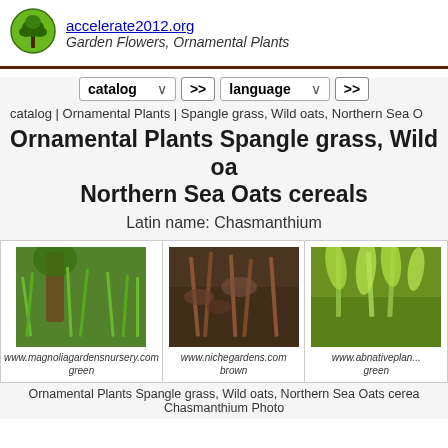accelerate2012.org Garden Flowers, Ornamental Plants
catalog | Ornamental Plants | Spangle grass, Wild oats, Northern Sea O
Ornamental Plants Spangle grass, Wild oats, Northern Sea Oats cereals
Latin name: Chasmanthium
[Figure (photo): Photo of Spangle grass, green — www.magnoliagardensnursery.com]
[Figure (photo): Photo of Spangle grass, brown — www.nichegardens.com]
[Figure (photo): Photo of Spangle grass, green — www.abnativepla...]
Ornamental Plants Spangle grass, Wild oats, Northern Sea Oats cerea Chasmanthium Photo